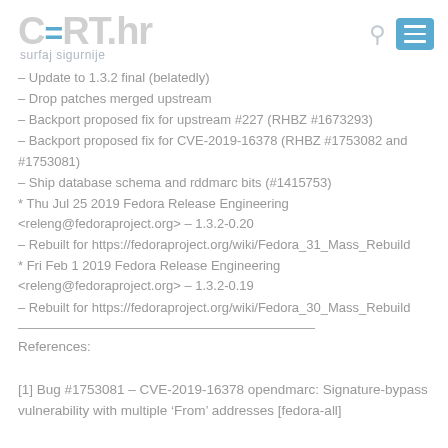CERT.hr surfaj sigurnije
– Update to 1.3.2 final (belatedly)
– Drop patches merged upstream
– Backport proposed fix for upstream #227 (RHBZ #1673293)
– Backport proposed fix for CVE-2019-16378 (RHBZ #1753082 and #1753081)
– Ship database schema and rddmarc bits (#1415753)
* Thu Jul 25 2019 Fedora Release Engineering <releng@fedoraproject.org> – 1.3.2-0.20
– Rebuilt for https://fedoraproject.org/wiki/Fedora_31_Mass_Rebuild
* Fri Feb 1 2019 Fedora Release Engineering <releng@fedoraproject.org> – 1.3.2-0.19
– Rebuilt for https://fedoraproject.org/wiki/Fedora_30_Mass_Rebuild
References:
[1] Bug #1753081 – CVE-2019-16378 opendmarc: Signature-bypass vulnerability with multiple 'From' addresses [fedora-all]